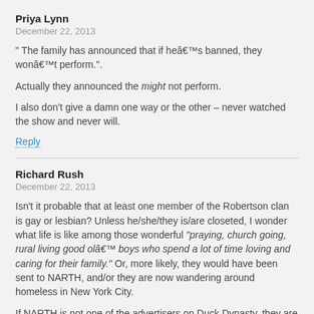Priya Lynn
December 22, 2013
" The family has announced that if heâ€™s banned, they wonâ€™t perform.".
Actually they announced the might not perform.
I also don't give a damn one way or the other – never watched the show and never will.
Reply
Richard Rush
December 22, 2013
Isn't it probable that at least one member of the Robertson clan is gay or lesbian? Unless he/she/they is/are closeted, I wonder what life is like among those wonderful “praying, church going, rural living good olâ€™ boys who spend a lot of time loving and caring for their family.” Or, more likely, they would have been sent to NARTH, and/or they are now wandering around homeless in New York City.
If NARTH is not one of the advertisers on Duck Dynasty, they are missing a golden opportunity.